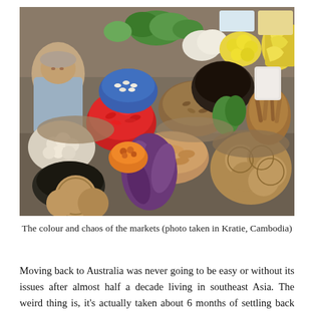[Figure (photo): A colourful and chaotic market scene with a vendor sitting among numerous baskets and bowls filled with a variety of vegetables, fruits, spices, and roots including chillies, coconuts, purple sweet potatoes, ginger, lemons, bananas, mushrooms, and herbs. Photo taken in Kratie, Cambodia.]
The colour and chaos of the markets (photo taken in Kratie, Cambodia)
Moving back to Australia was never going to be easy or without its issues after almost half a decade living in southeast Asia. The weird thing is, it's actually taken about 6 months of settling back into our 'old' life before